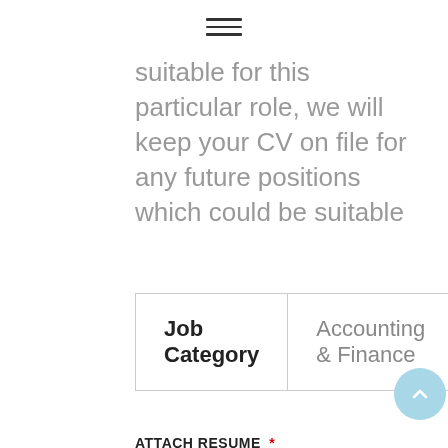[Figure (other): Hamburger/menu icon with three horizontal lines]
suitable for this particular role, we will keep your CV on file for any future positions which could be suitable
| Job Category | Accounting & Finance |
| --- | --- |
| Job Category | Accounting & Finance |
ATTACH RESUME *